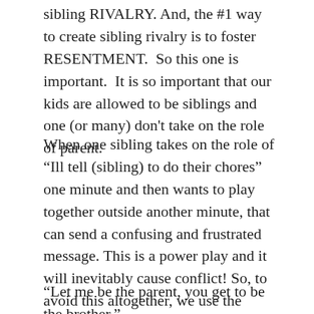sibling RIVALRY. And, the #1 way to create sibling rivalry is to foster RESENTMENT. So this one is important. It is so important that our kids are allowed to be siblings and one (or many) don't take on the role of parent.
When one sibling takes on the role of “Ill tell (sibling) to do their chores” one minute and then wants to play together outside another minute, that can send a confusing and frustrated message. This is a power play and it will inevitably cause conflict! So, to avoid this altogether, we use the phrase in our house:
“Let me be the parent, you get to be the brother.”